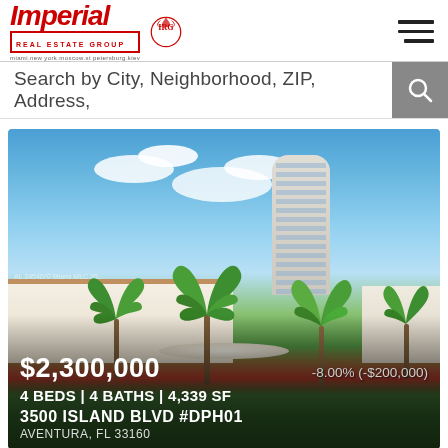Imperial Real Estate Group — miami.new york.moscow.st petersburg.kiev
Search by City, Neighborhood, ZIP, Address,
[Figure (photo): Luxury residential property at 3500 Island Blvd, Aventura, Florida — Mediterranean-style low-rise buildings with a tall circular tower in the background, surrounded by palm trees and tropical landscaping under a blue sky with clouds.]
$2,300,000
-8.00% (-$200,000)
4 BEDS | 4 BATHS | 4,339 SF
3500 ISLAND BLVD #DPH01
AVENTURA, FL 33160